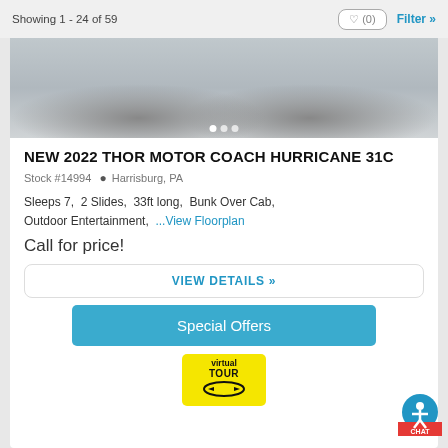Showing 1 - 24 of 59
[Figure (photo): Partial view of a white RV/motor coach vehicle, showing wheels and body.]
NEW 2022 THOR MOTOR COACH HURRICANE 31C
Stock #14994  Harrisburg, PA
Sleeps 7,  2 Slides,  33ft long,  Bunk Over Cab,  Outdoor Entertainment,  ...View Floorplan
Call for price!
VIEW DETAILS »
Special Offers
[Figure (logo): Virtual Tour badge: yellow background with 'virtual TOUR' text and circular arrow icon.]